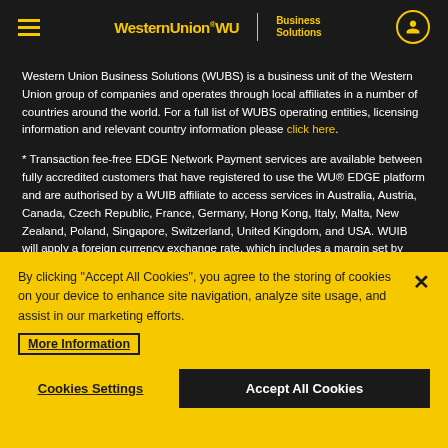WesternUnion WU Business Solutions
Western Union Business Solutions (WUBS) is a business unit of the Western Union group of companies and operates through local affiliates in a number of countries around the world. For a full list of WUBS operating entities, licensing information and relevant country information please click here.
* Transaction fee-free EDGE Network Payment services are available between fully accredited customers that have registered to use the WU® EDGE platform and are authorised by a WUIB affiliate to access services in Australia, Austria, Canada, Czech Republic, France, Germany, Hong Kong, Italy, Malta, New Zealand, Poland, Singapore, Switzerland, United Kingdom, and USA. WUIB will apply a foreign currency exchange rate, which includes a margin set by WUIB, whenever a transaction includes a currency conversion. Transaction fees may also apply to transactions other than EDGE Network
By clicking "Accept All Cookies", you agree to the storing of cookies on your device to enhance site navigation, analyze site usage, and assist in our marketing efforts.
More Information
Cookies Settings
Accept All Cookies